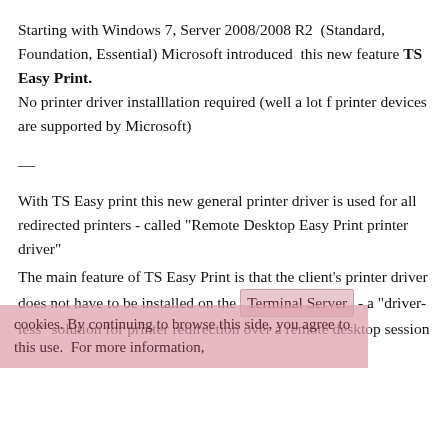Starting with Windows 7, Server 2008/2008 R2  (Standard, Foundation, Essential) Microsoft introduced  this new feature TS Easy Print.
No printer driver installlation required (well a lot f printer devices are supported by Microsoft)
—
With TS Easy print this new general printer driver is used for all redirected printers - called "Remote Desktop Easy Print printer driver"
The main feature of TS Easy Print is that the client's printer driver does not have to be installed on the Terminal Server - a "driver-less" solution for printer redirection over a remote desktop session